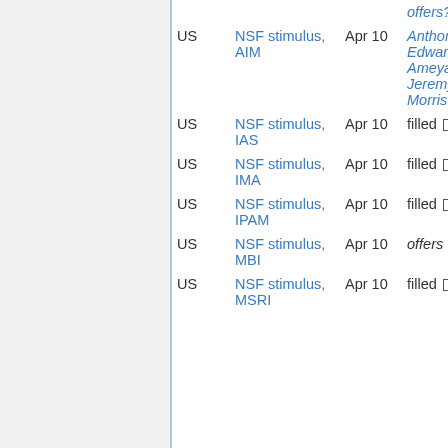| Country | Program | Date | Status |
| --- | --- | --- | --- |
|  |  |  | offers? |
| US | NSF stimulus, AIM | Apr 10 | Anthony Bak, Edward Herman, Ameya Pitale, Jeremy Van Horn-Morris □ |
| US | NSF stimulus, IAS | Apr 10 | filled □ |
| US | NSF stimulus, IMA | Apr 10 | filled □ |
| US | NSF stimulus, IPAM | Apr 10 | filled □ |
| US | NSF stimulus, MBI | Apr 10 | offers |
| US | NSF stimulus, MSRI | Apr 10 | filled □ |